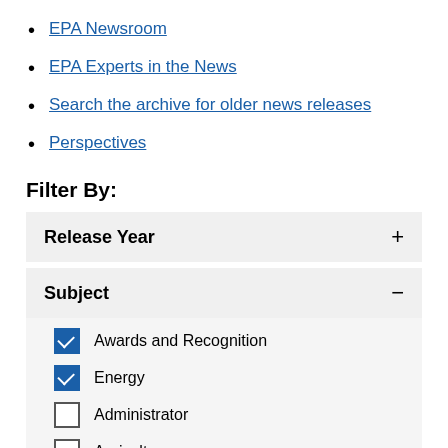EPA Newsroom
EPA Experts in the News
Search the archive for older news releases
Perspectives
Filter By:
Release Year +
Subject −
Awards and Recognition (checked)
Energy (checked)
Administrator (unchecked)
Agriculture (unchecked)